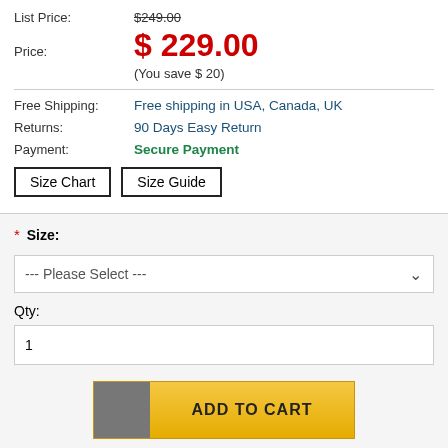List Price: $249.00 (strikethrough)
Price: $229.00
(You save $ 20)
Free Shipping: Free shipping in USA, Canada, UK
Returns: 90 Days Easy Return
Payment: Secure Payment
Size Chart
Size Guide
* Size:
--- Please Select ---
Qty:
1
ADD TO CART